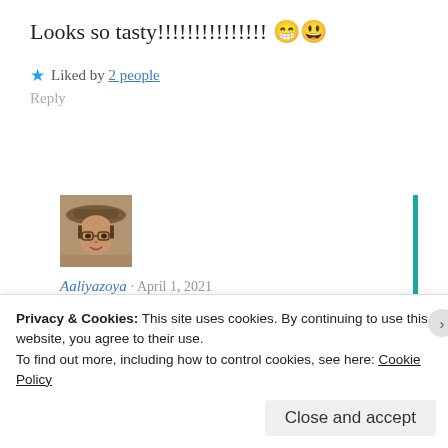Looks so tasty!!!!!!!!!!!!!!! 😁😃
★ Liked by 2 people
Reply
[Figure (photo): User avatar photo of Aaliyazoya - a person with glasses and a hat]
Aaliyazoya · April 1, 2021
Thanks 😊❤
★ Liked by 1 person
Privacy & Cookies: This site uses cookies. By continuing to use this website, you agree to their use.
To find out more, including how to control cookies, see here: Cookie Policy
Close and accept